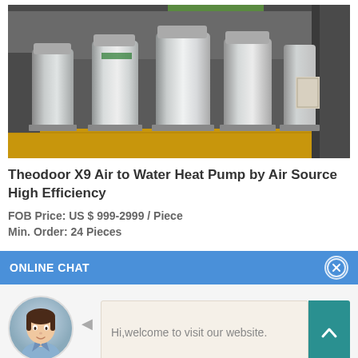[Figure (photo): Photograph of multiple Theodoor X9 Air to Water Heat Pump units (tall cylindrical silver/white tanks) lined up in a warehouse or factory floor with yellow floor markings]
Theodoor X9 Air to Water Heat Pump by Air Source High Efficiency
FOB Price: US $ 999-2999 / Piece
Min. Order: 24 Pieces
ONLINE CHAT
[Figure (photo): Avatar photo of a young woman named Cilina, used as chat agent profile picture]
Cilina
Hi,welcome to visit our website.